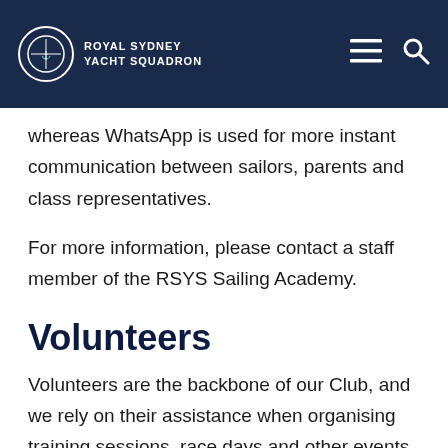ROYAL SYDNEY YACHT SQUADRON
whereas WhatsApp is used for more instant communication between sailors, parents and class representatives.
For more information, please contact a staff member of the RSYS Sailing Academy.
Volunteers
Volunteers are the backbone of our Club, and we rely on their assistance when organising training sessions, race days and other events both on and off the water. We are extremely grateful for their support and are always looking for more helpers.